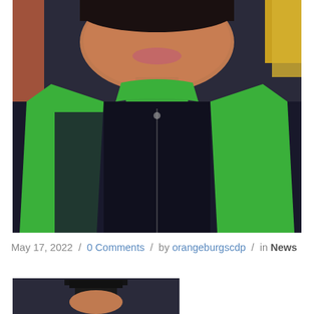[Figure (photo): Close-up photo of a person smiling, wearing graduation regalia — a dark navy gown with a bright green academic hood/stole. A yellow tassel is visible on the right side. Brick building visible in background on left.]
May 17, 2022 / 0 Comments / by orangeburgscdp / in News
[Figure (photo): Second photo, partially visible at bottom of page, showing a person in graduation cap.]